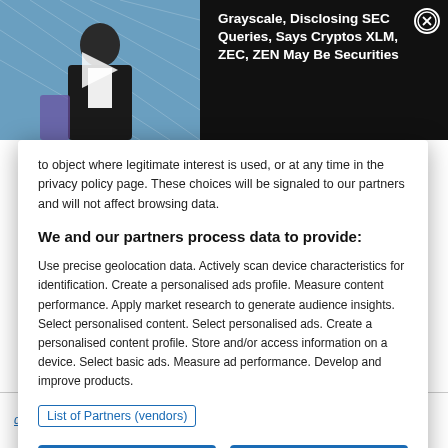[Figure (screenshot): Video notification bar with thumbnail of a man in a dark suit at a conference, with a play button overlay, and text reading: Grayscale, Disclosing SEC Queries, Says Cryptos XLM, ZEC, ZEN May Be Securities. Close button in top right.]
to object where legitimate interest is used, or at any time in the privacy policy page. These choices will be signaled to our partners and will not affect browsing data.
We and our partners process data to provide:
Use precise geolocation data. Actively scan device characteristics for identification. Create a personalised ads profile. Measure content performance. Apply market research to generate audience insights. Select personalised content. Select personalised ads. Create a personalised content profile. Store and/or access information on a device. Select basic ads. Measure ad performance. Develop and improve products.
List of Partners (vendors)
Reject All
I Accept
dump til then